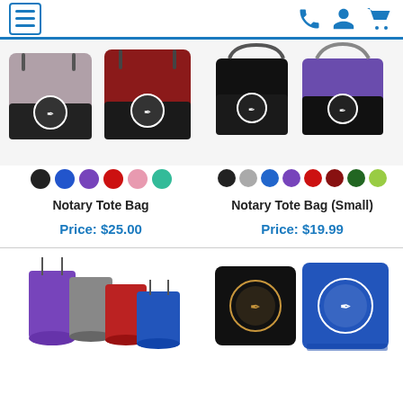Navigation header with hamburger menu and icons (phone, user, cart)
[Figure (photo): Notary Tote Bag product images showing grey/pink and red variants with notary seal logo, with color swatches: black, blue, purple, red, pink, teal]
[Figure (photo): Notary Tote Bag (Small) product images showing black and purple variants with notary seal logo, with color swatches: black, grey, blue, purple, red, dark red, green, lime]
Notary Tote Bag
Notary Tote Bag (Small)
Price: $25.00
Price: $19.99
[Figure (photo): Drawstring backpacks in purple, grey, red, and blue colors]
[Figure (photo): Throw pillows with notary seal — black with gold seal and royal blue with white seal]